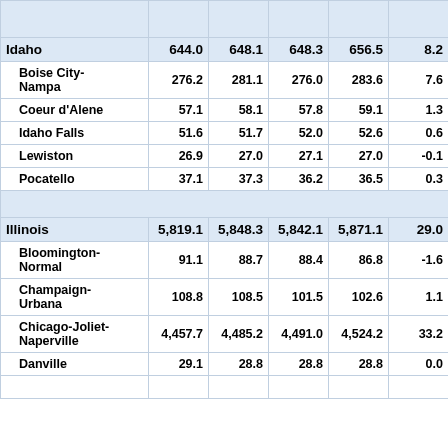|  | Col1 | Col2 | Col3 | Col4 | Col5 |
| --- | --- | --- | --- | --- | --- |
| Idaho | 644.0 | 648.1 | 648.3 | 656.5 | 8.2 |
| Boise City-Nampa | 276.2 | 281.1 | 276.0 | 283.6 | 7.6 |
| Coeur d'Alene | 57.1 | 58.1 | 57.8 | 59.1 | 1.3 |
| Idaho Falls | 51.6 | 51.7 | 52.0 | 52.6 | 0.6 |
| Lewiston | 26.9 | 27.0 | 27.1 | 27.0 | -0.1 |
| Pocatello | 37.1 | 37.3 | 36.2 | 36.5 | 0.3 |
| Illinois | 5,819.1 | 5,848.3 | 5,842.1 | 5,871.1 | 29.0 |
| Bloomington-Normal | 91.1 | 88.7 | 88.4 | 86.8 | -1.6 |
| Champaign-Urbana | 108.8 | 108.5 | 101.5 | 102.6 | 1.1 |
| Chicago-Joliet-Naperville | 4,457.7 | 4,485.2 | 4,491.0 | 4,524.2 | 33.2 |
| Danville | 29.1 | 28.8 | 28.8 | 28.8 | 0.0 |